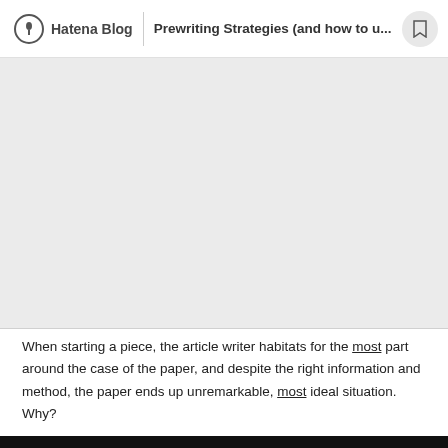Hatena Blog | Prewriting Strategies (and how to u...
[Figure (other): Gray placeholder image area]
When starting a piece, the article writer habitats for the most part around the case of the paper, and despite the right information and method, the paper ends up unremarkable, most ideal situation. Why?
The clarification as a rule is the nonappearance of prewriting.